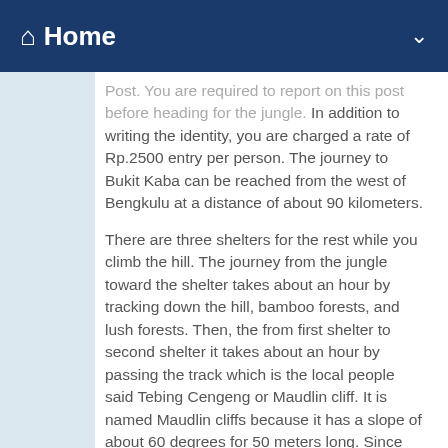Home
Post. You are required to report on this post before heading for the jungle. In addition to writing the identity, you are charged a rate of Rp.2500 entry per person. The journey to Bukit Kaba can be reached from the west of Bengkulu at a distance of about 90 kilometers.
There are three shelters for the rest while you climb the hill. The journey from the jungle toward the shelter takes about an hour by tracking down the hill, bamboo forests, and lush forests. Then, the from first shelter to second shelter it takes about an hour by passing the track which is the local people said Tebing Cengeng or Maudlin cliff. It is named Maudlin cliffs because it has a slope of about 60 degrees for 50 meters long. Since the visitor has to climb the rock, and it is hard, then they complain and sometimes, want to cry. Meanwhile, from the second shelter to the third shelter there is a dome which is the entrance area of the hilltop.Thetrip takes half an hour. Browse Giant Food Ad on WeeklyAds?. During the trip from shelter to